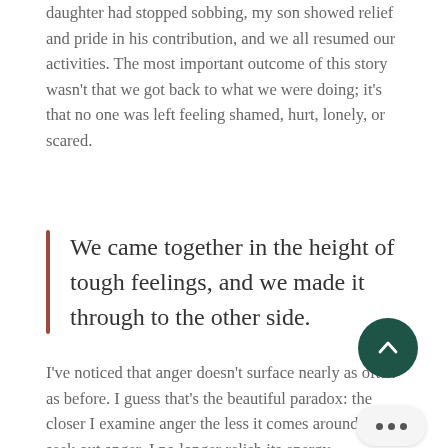daughter had stopped sobbing, my son showed relief and pride in his contribution, and we all resumed our activities. The most important outcome of this story wasn't that we got back to what we were doing; it's that no one was left feeling shamed, hurt, lonely, or scared.
We came together in the height of tough feelings, and we made it through to the other side.
I've noticed that anger doesn't surface nearly as often as before. I guess that's the beautiful paradox: the closer I examine anger the less it comes around. I do seek out anger, I no longer relish its energy